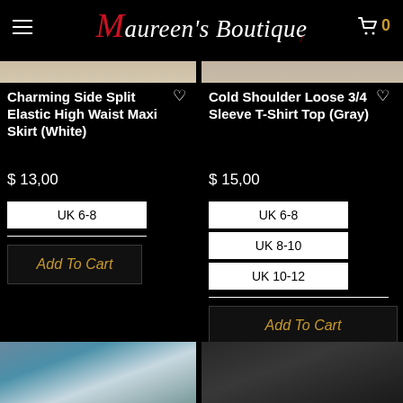Maureen's Boutique
[Figure (screenshot): Partial top of product image for Charming Side Split Elastic High Waist Maxi Skirt (White)]
[Figure (screenshot): Partial top of product image for Cold Shoulder Loose 3/4 Sleeve T-Shirt Top (Gray)]
Charming Side Split Elastic High Waist Maxi Skirt (White)
$ 13,00
UK 6-8
Add To Cart
Cold Shoulder Loose 3/4 Sleeve T-Shirt Top (Gray)
$ 15,00
UK 6-8
UK 8-10
UK 10-12
Add To Cart
[Figure (photo): Bottom partial product photo on left]
[Figure (photo): Bottom partial product photo on right]